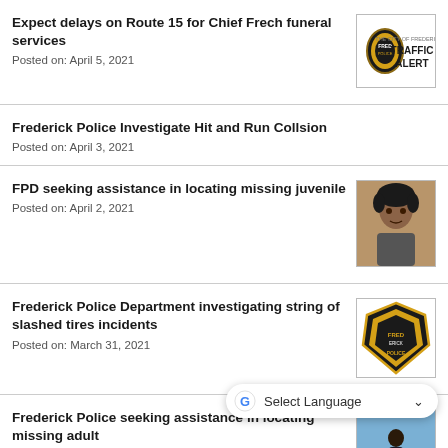Expect delays on Route 15 for Chief Frech funeral services
Posted on: April 5, 2021
[Figure (logo): Frederick Police Traffic Alert badge logo]
Frederick Police Investigate Hit and Run Collsion
Posted on: April 3, 2021
FPD seeking assistance in locating missing juvenile
Posted on: April 2, 2021
[Figure (photo): Photo of missing juvenile — young man with curly hair]
Frederick Police Department investigating string of slashed tires incidents
Posted on: March 31, 2021
[Figure (logo): Frederick Police Department badge logo]
Frederick Police seeking assistance in locating missing adult
Posted on: March 20, 2021
[Figure (photo): Photo of missing adult at beach]
FPD locates missing man safe and unharmed